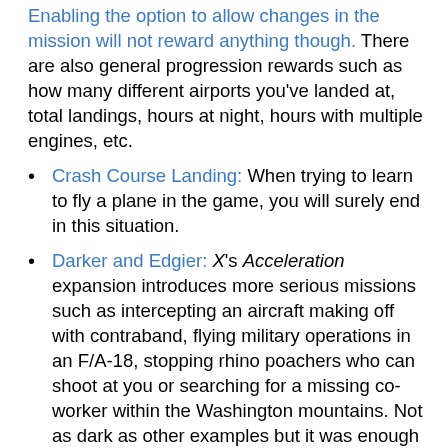Enabling the option to allow changes in the mission will not reward anything though. There are also general progression rewards such as how many different airports you've landed at, total landings, hours at night, hours with multiple engines, etc.
Crash Course Landing: When trying to learn to fly a plane in the game, you will surely end in this situation.
Darker and Edgier: X's Acceleration expansion introduces more serious missions such as intercepting an aircraft making off with contraband, flying military operations in an F/A-18, stopping rhino poachers who can shoot at you or searching for a missing co-worker within the Washington mountains. Not as dark as other examples but it was enough to have it rated T compared to the base game's E.
Diegetic Interface: These games are designed around this. X includes both a 2D panel cockpit and a 3D virtual cockpit. All of your important readouts are generally in front of you or somewhere in the cockpit and you can click